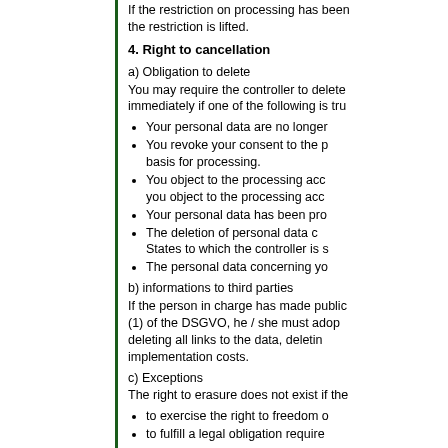If the restriction on processing has been lifted, the restriction is lifted.
4. Right to cancellation
a) Obligation to delete
You may require the controller to delete immediately if one of the following is true:
Your personal data are no longer...
You revoke your consent to the basis for processing.
You object to the processing according to you object to the processing acco...
Your personal data has been pro...
The deletion of personal data c... States to which the controller is s...
The personal data concerning yo...
b) informations to third parties
If the person in charge has made public (1) of the DSGVO, he / she must adopt deleting all links to the data, deleting implementation costs.
c) Exceptions
The right to erasure does not exist if the
to exercise the right to freedom of...
to fulfill a legal obligation require...